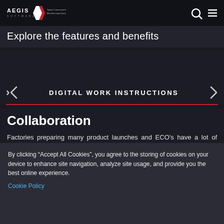AEGIS SOFTWARE — Speed, Control and Visibility for Manufacturing Operations
Explore the features and benefits
DIGITAL WORK INSTRUCTIONS
Collaboration
Factories preparing many product launches and ECO’s have a lot of work going on in manufacturing engineering. With several engineers all authoring processes for the
By clicking “Accept All Cookies”, you agree to the storing of cookies on your device to enhance site navigation, analyze site usage, and provide you the best online experience.
Cookie Policy